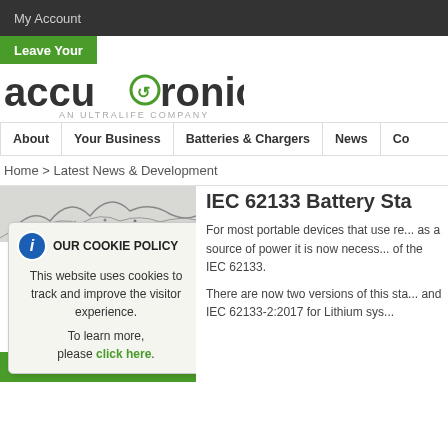My Account
Leave Your
[Figure (logo): Accutronics logo with green circular arrow icon and tagline AN ULTRALIFE COMPANY]
About | Your Business | Batteries & Chargers | News | Co...
Home > Latest News & Development
IEC 62133 Battery Sta...
For most portable devices that use re... as a source of power it is now necess... of the IEC 62133.
There are now two versions of this sta... and IEC 62133-2:2017 for Lithium sys...
OUR COOKIE POLICY
This website uses cookies to track and improve the visitor experience.
To learn more, please click here.